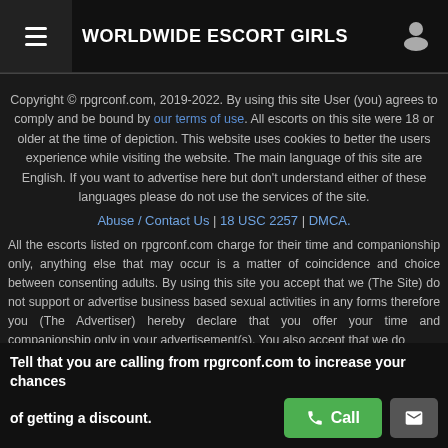WORLDWIDE ESCORT GIRLS
Copyright © rpgrconf.com, 2019-2022. By using this site User (you) agrees to comply and be bound by our terms of use. All escorts on this site were 18 or older at the time of depiction. This website uses cookies to better the users experience while visiting the website. The main language of this site are English. If you want to advertise here but don't understand either of these languages please do not use the services of the site.
Abuse / Contact Us | 18 USC 2257 | DMCA.
All the escorts listed on rpgrconf.com charge for their time and companionship only, anything else that may occur is a matter of coincidence and choice between consenting adults. By using this site you accept that we (The Site) do not support or advertise business based sexual activities in any forms therefore you (The Advertiser) hereby declare that you offer your time and companionship only in your advertisement(s). You also accept that we do therefore every advertiser on this site must be an independent individual.
Gjulsima (24), Norway, escort girl
Tell that you are calling from rpgrconf.com to increase your chances of getting a discount.